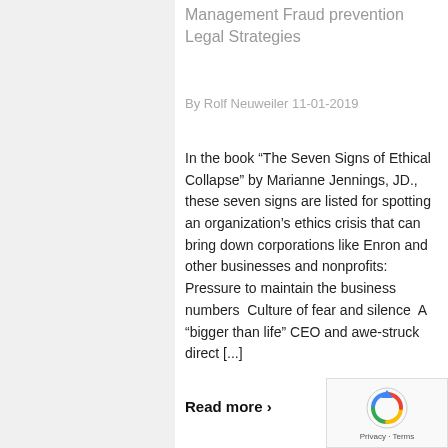Management Fraud prevention Legal Strategies
By Rolf Neuweiler 11-01-2019
In the book “The Seven Signs of Ethical Collapse” by Marianne Jennings, JD., these seven signs are listed for spotting an organization’s ethics crisis that can bring down corporations like Enron and other businesses and nonprofits: Pressure to maintain the business numbers  Culture of fear and silence  A “bigger than life” CEO and awe-struck direct [...]
Read more ›